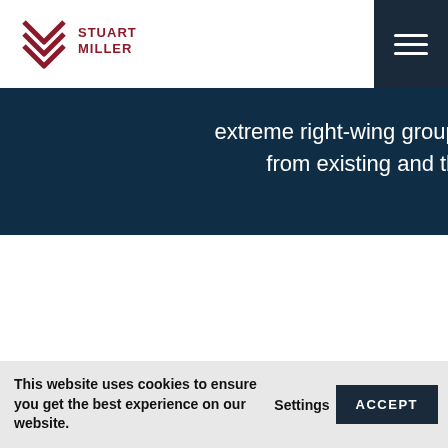Stuart Miller
extreme right-wing groups and terrorist groups from existing and thriving in the UK.
The Home Office have outlawed the existence of a long list of groups that have the potential for stirring up hate, glorifying violence or promoting poisonous and toxic ideologies.
This website uses cookies to ensure you get the best experience on our website. Settings ACCEPT